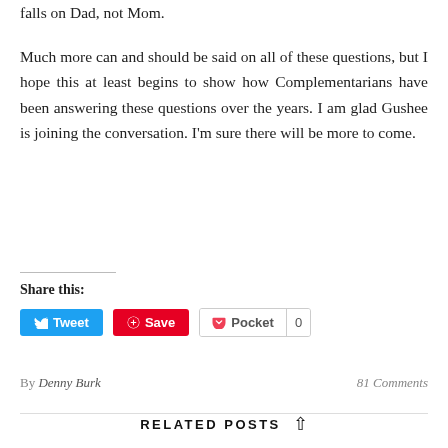falls on Dad, not Mom.
Much more can and should be said on all of these questions, but I hope this at least begins to show how Complementarians have been answering these questions over the years. I am glad Gushee is joining the conversation. I'm sure there will be more to come.
Share this:
By Denny Burk   81 Comments
RELATED POSTS
[Figure (photo): Black and white close-up photograph of an elderly person's face, partially visible at the bottom of the page]